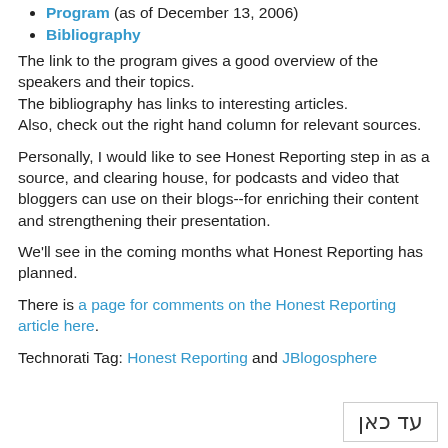Program (as of December 13, 2006)
Bibliography
The link to the program gives a good overview of the speakers and their topics.
The bibliography has links to interesting articles.
Also, check out the right hand column for relevant sources.
Personally, I would like to see Honest Reporting step in as a source, and clearing house, for podcasts and video that bloggers can use on their blogs--for enriching their content and strengthening their presentation.
We'll see in the coming months what Honest Reporting has planned.
There is a page for comments on the Honest Reporting article here.
Technorati Tag: Honest Reporting and JBlogosphere
עד כאן